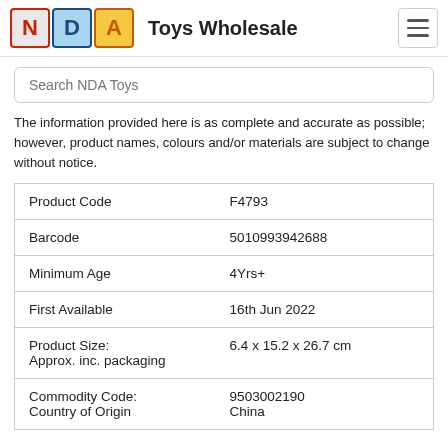NDA Toys Wholesale
The information provided here is as complete and accurate as possible; however, product names, colours and/or materials are subject to change without notice.
|  |  |
| --- | --- |
| Product Code | F4793 |
| Barcode | 5010993942688 |
| Minimum Age | 4Yrs+ |
| First Available | 16th Jun 2022 |
| Product Size: Approx. inc. packaging | 6.4 x 15.2 x 26.7 cm |
| Commodity Code: Country of Origin | 9503002190 China |